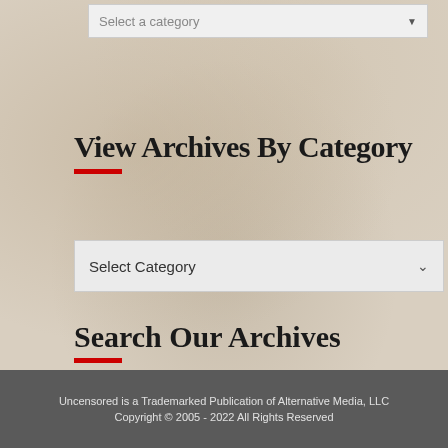[Figure (screenshot): Top dropdown element with 'Select a category' placeholder text and a downward arrow]
View Archives By Category
[Figure (screenshot): Dropdown select box with 'Select Category' placeholder and downward chevron arrow]
Search Our Archives
[Figure (screenshot): Search input field with 'Search ...' placeholder text and an orange Search button]
Uncensored is a Trademarked Publication of Alternative Media, LLC
Copyright © 2005 - 2022 All Rights Reserved